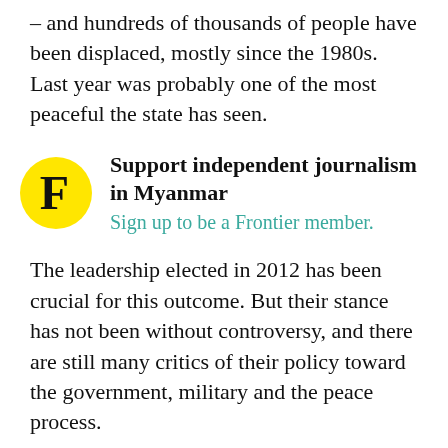– and hundreds of thousands of people have been displaced, mostly since the 1980s. Last year was probably one of the most peaceful the state has seen.
[Figure (logo): Yellow circle logo with bold black letter F — Frontier Myanmar publication logo]
Support independent journalism in Myanmar
Sign up to be a Frontier member.
The leadership elected in 2012 has been crucial for this outcome. But their stance has not been without controversy, and there are still many critics of their policy toward the government, military and the peace process.
Prior to the 15th Congress, the early negotiations